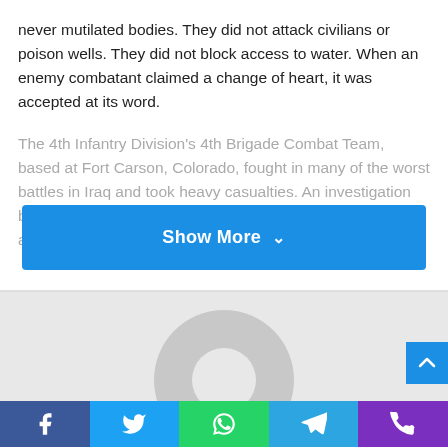never mutilated bodies. They did not attack civilians or poison wells. They did not block access to water. When an enemy combatant claimed a change of heart, it was accepted at its word.
The 4th Infantry Division's 4th Brigade Combat Team, based at Fort Carson, Colorado, fought in many of the worst battles in Iraq and took heavy casualties. An investigation by Dave Phillips of The Gazette has revealed that the atrocities began
[Figure (other): Show More button - blue rounded rectangle with white bold text 'Show More' and a downward chevron icon]
[Figure (other): Gray circular avatar/profile placeholder icon]
[Figure (other): Blue scroll-to-top button with upward chevron arrow, positioned at right side]
[Figure (other): Social sharing bar at bottom with five colored buttons: Facebook (blue), Twitter (light blue), WhatsApp (green), Telegram (blue), Phone/Viber (purple)]